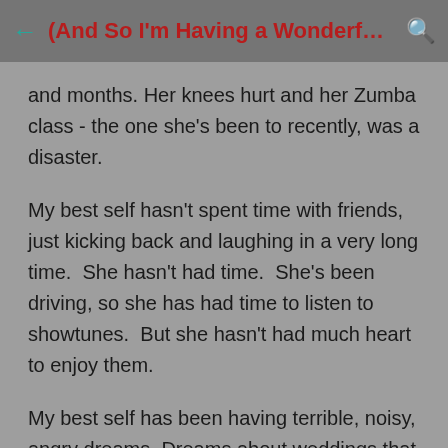(And So I'm Having a Wonderful Time, But I...
and months. Her knees hurt and her Zumba class - the one she's been to recently, was a disaster.
My best self hasn't spent time with friends, just kicking back and laughing in a very long time.  She hasn't had time.  She's been driving, so she has had time to listen to showtunes.  But she hasn't had much heart to enjoy them.
My best self has been having terrible, noisy, angry dreams. Dreams about weddings that fall apart, rodent infestations, screaming matches, loud machinery,